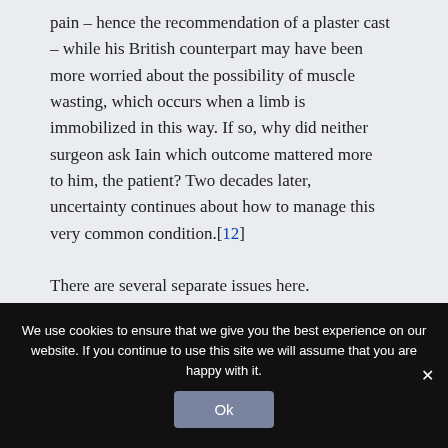pain – hence the recommendation of a plaster cast – while his British counterpart may have been more worried about the possibility of muscle wasting, which occurs when a limb is immobilized in this way. If so, why did neither surgeon ask Iain which outcome mattered more to him, the patient? Two decades later, uncertainty continues about how to manage this very common condition.[12]
There are several separate issues here.
We use cookies to ensure that we give you the best experience on our website. If you continue to use this site we will assume that you are happy with it.